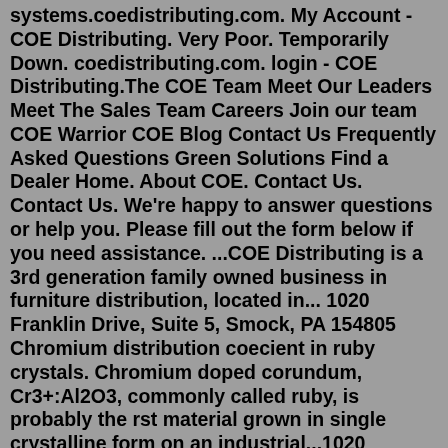systems.coedistributing.com. My Account - COE Distributing. Very Poor. Temporarily Down. coedistributing.com. login - COE Distributing.The COE Team Meet Our Leaders Meet The Sales Team Careers Join our team COE Warrior COE Blog Contact Us Frequently Asked Questions Green Solutions Find a Dealer Home. About COE. Contact Us. Contact Us. We're happy to answer questions or help you. Please fill out the form below if you need assistance. ...COE Distributing is a 3rd generation family owned business in furniture distribution, located in... 1020 Franklin Drive, Suite 5, Smock, PA 154805 Chromium distribution coecient in ruby crystals. Chromium doped corundum, Cr3+:Al2O3, commonly called ruby, is probably the rst material grown in single crystalline form on an industrial...1020 Franklin Drive Suite 5 Smock, PA 15480 United States. WEBSITE. www.coedistributing.com.The most useful review selected by Indeed. I liked the atmosphere very fast